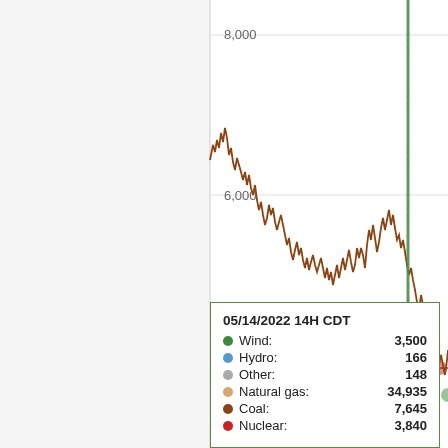[Figure (line-chart): Partial view of a line chart showing energy generation over time. Y-axis shows values from 2,000 to 8,000 MW. Multiple colored lines visible: a brown jagged line (Coal) fluctuating between ~5,500 and ~8,200, a red near-flat line (Nuclear) around 3,850, and a green vertical spike line (Wind). The chart is cropped on left and right edges.]
05/14/2022 14H CDT
Wind: 3,500
Hydro: 166
Other: 148
Natural gas: 34,935
Coal: 7,645
Nuclear: 3,840